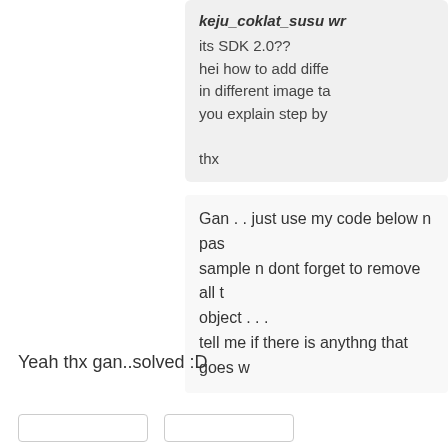keju_coklat_susu wr
its SDK 2.0??
hei how to add diffe
in different image ta
you explain step by

thx
Gan . . just use my code below n pas
sample n dont forget to remove all t
object . . .
tell me if there is anythng that goes w
Yeah thx gan..solved :D